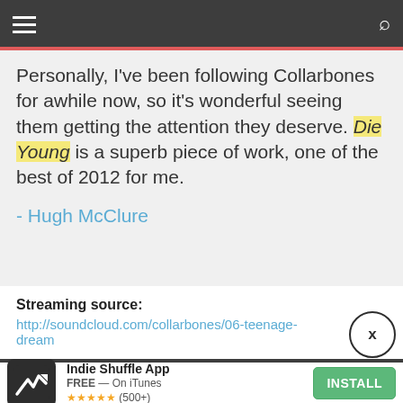Navigation bar with hamburger menu and search icon
Personally, I've been following Collarbones for awhile now, so it's wonderful seeing them getting the attention they deserve. Die Young is a superb piece of work, one of the best of 2012 for me.
- Hugh McClure
Streaming source: http://soundcloud.com/collarbones/06-teenage-dream
[Figure (other): Circular close button with X]
[Figure (logo): Indie Shuffle App icon — dark background with zigzag arrow]
Indie Shuffle App
FREE — On iTunes
★★★★★ (500+)
INSTALL